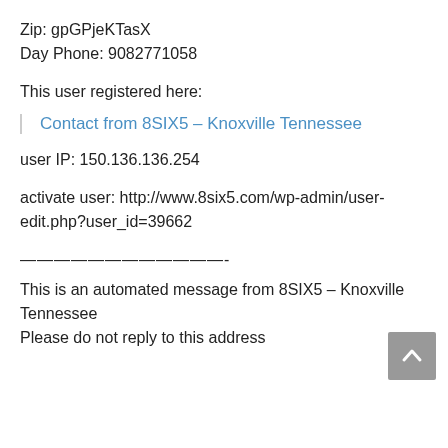Zip: gpGPjeKTasX
Day Phone: 9082771058
This user registered here:
Contact from 8SIX5 – Knoxville Tennessee
user IP: 150.136.136.254
activate user: http://www.8six5.com/wp-admin/user-edit.php?user_id=39662
————————————-
This is an automated message from 8SIX5 – Knoxville Tennessee
Please do not reply to this address